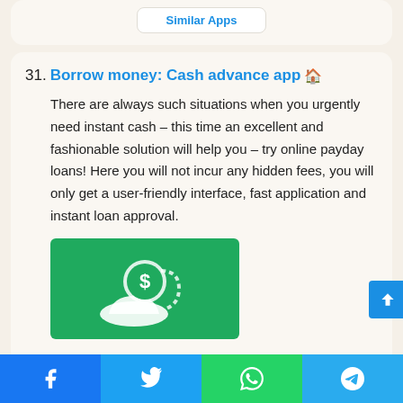Similar Apps
31. Borrow money: Cash advance app
There are always such situations when you urgently need instant cash – this time an excellent and fashionable solution will help you – try online payday loans! Here you will not incur any hidden fees, you will only get a user-friendly interface, fast application and instant loan approval.
[Figure (photo): App icon/screenshot on green background showing a hand holding a dollar coin with a clock/clock-like graphic]